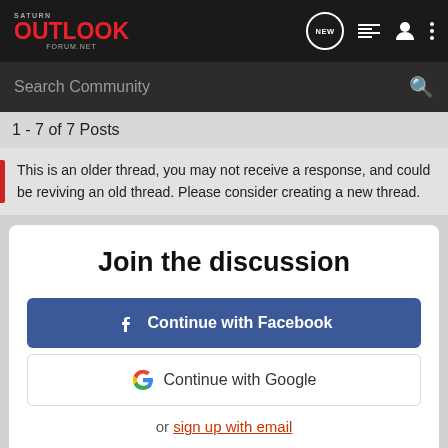Saturn Outlook Forum.net — NEW, list, user, menu icons
Search Community
1 - 7 of 7 Posts
This is an older thread, you may not receive a response, and could be reviving an old thread. Please consider creating a new thread.
Join the discussion
Continue with Facebook
Continue with Google
or sign up with email